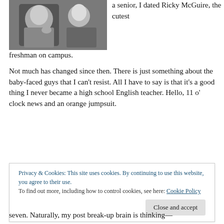[Figure (photo): Black and white photo of two people, one with hand near chin, the other leaning in close]
a senior, I dated Ricky McGuire, the cutest freshman on campus.
Not much has changed since then. There is just something about the baby-faced guys that I can't resist. All I have to say is that it's a good thing I never became a high school English teacher. Hello, 11 o' clock news and an orange jumpsuit.
Privacy & Cookies: This site uses cookies. By continuing to use this website, you agree to their use. To find out more, including how to control cookies, see here: Cookie Policy
seven. Naturally, my post break-up brain is thinking—